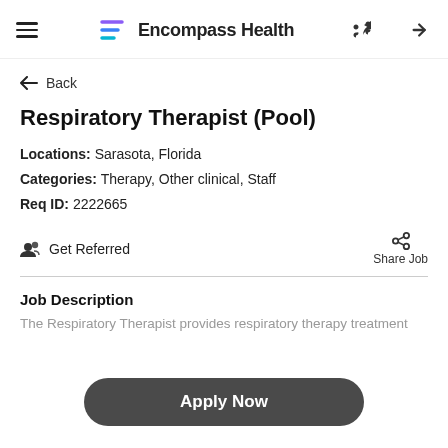Encompass Health
← Back
Respiratory Therapist (Pool)
Locations: Sarasota, Florida
Categories: Therapy, Other clinical, Staff
Req ID: 2222665
👥 Get Referred
Share Job
Job Description
The Respiratory Therapist provides respiratory therapy treatment
Apply Now